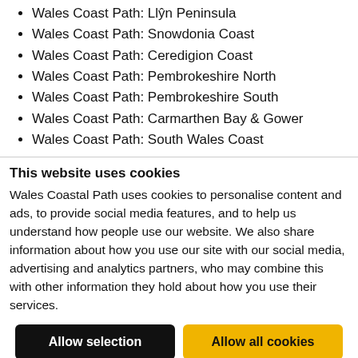Wales Coast Path: Llŷn Peninsula
Wales Coast Path: Snowdonia Coast
Wales Coast Path: Ceredigion Coast
Wales Coast Path: Pembrokeshire North
Wales Coast Path: Pembrokeshire South
Wales Coast Path: Carmarthen Bay & Gower
Wales Coast Path: South Wales Coast
This website uses cookies
Wales Coastal Path uses cookies to personalise content and ads, to provide social media features, and to help us understand how people use our website. We also share information about how you use our site with our social media, advertising and analytics partners, who may combine this with other information they hold about how you use their services.
Allow selection | Allow all cookies | Necessary | Preferences | Statistics | Marketing | Show details